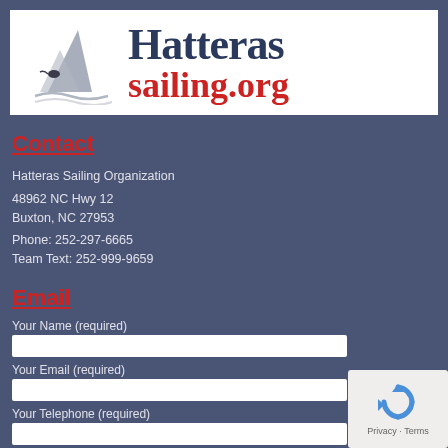[Figure (logo): Hatteras sailing.org logo with sailboat graphic, dark navy text 'Hatteras' and red text 'sailing.org']
Contact
Hatteras Sailing Organization
48962 NC Hwy 12
Buxton, NC 27953
Phone: 252-297-6665
Team Text: 252-999-9659
Email
Your Name (required)
Your Email (required)
Your Telephone (required)
[Figure (other): reCAPTCHA widget with circular arrow icon and Privacy - Terms links]